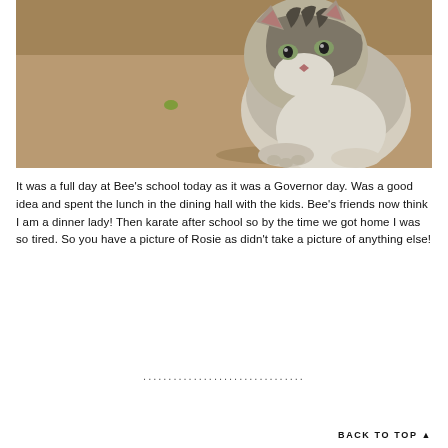[Figure (photo): Close-up sepia-toned photo of a tabby and white cat crouching on a wooden floor, looking toward the camera. The cat has striped markings on its head and a white chest. A small green object is visible on the floor in the background.]
It was a full day at Bee's school today as it was a Governor day. Was a good idea and spent the lunch in the dining hall with the kids. Bee's friends now think I am a dinner lady! Then karate after school so by the time we got home I was so tired. So you have a picture of Rosie as didn't take a picture of anything else!
................................
BACK TO TOP ▲